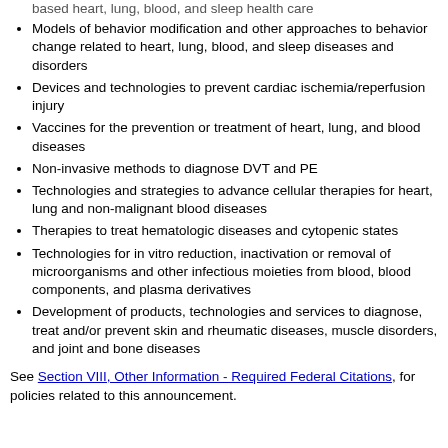based heart, lung, blood, and sleep health care
Models of behavior modification and other approaches to behavior change related to heart, lung, blood, and sleep diseases and disorders
Devices and technologies to prevent cardiac ischemia/reperfusion injury
Vaccines for the prevention or treatment of heart, lung, and blood diseases
Non-invasive methods to diagnose DVT and PE
Technologies and strategies to advance cellular therapies for heart, lung and non-malignant blood diseases
Therapies to treat hematologic diseases and cytopenic states
Technologies for in vitro reduction, inactivation or removal of microorganisms and other infectious moieties from blood, blood components, and plasma derivatives
Development of products, technologies and services to diagnose, treat and/or prevent skin and rheumatic diseases, muscle disorders, and joint and bone diseases
See Section VIII, Other Information - Required Federal Citations, for policies related to this announcement.